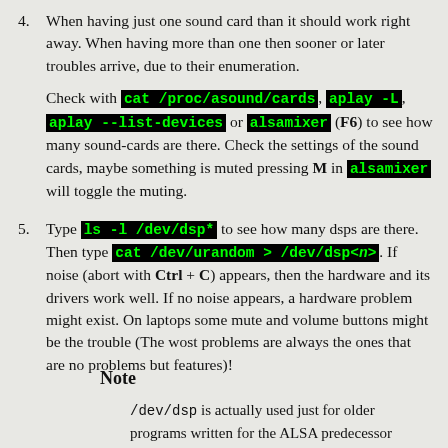4. When having just one sound card than it should work right away. When having more than one then sooner or later troubles arrive, due to their enumeration.

Check with cat /proc/asound/cards, aplay -L, aplay --list-devices or alsamixer (F6) to see how many sound-cards are there. Check the settings of the sound cards, maybe something is muted pressing M in alsamixer will toggle the muting.
5. Type ls -l /dev/dsp* to see how many dsps are there. Then type cat /dev/urandom > /dev/dsp<n>. If noise (abort with Ctrl + C) appears, then the hardware and its drivers work well. If no noise appears, a hardware problem might exist. On laptops some mute and volume buttons might be the trouble (The wost problems are always the ones that are no problems but features)!
Note
/dev/dsp is actually used just for older programs written for the ALSA predecessor OSS. If /dev/dsp does not exist it can be created via kernel configuration. Under ALSA